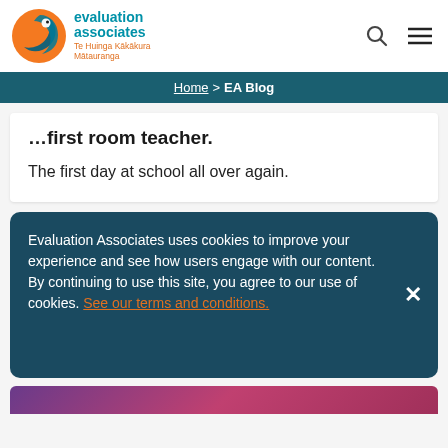[Figure (logo): Evaluation Associates logo with orange/blue circular bird motif and teal text reading 'evaluation associates Te Huinga Kākākura Mātauranga']
Home > EA Blog
...first room teacher.
The first day at school all over again.
Evaluation Associates uses cookies to improve your experience and see how users engage with our content. By continuing to use this site, you agree to our use of cookies. See our terms and conditions.